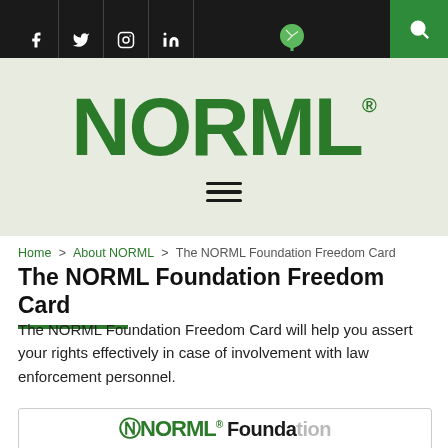NORML navigation bar with social icons (Facebook, Twitter, Instagram, LinkedIn), leaf logo, hamburger menu, and search button
[Figure (logo): NORML logo in large dark green bold letters with registered trademark symbol on a light green/grey background, with hamburger menu icon below]
Home > About NORML > The NORML Foundation Freedom Card
The NORML Foundation Freedom Card
The NORML Foundation Freedom Card will help you assert your rights effectively in case of involvement with law enforcement personnel.
[Figure (screenshot): Partial view of the NORML Foundation Freedom Card showing the NORML Foundation logo text at the bottom of the page]